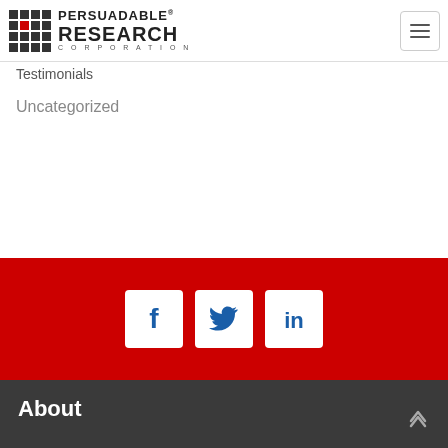Persuadable Research Corporation
Testimonials
Uncategorized
[Figure (other): Red social media bar with Facebook, Twitter, and LinkedIn icons]
About